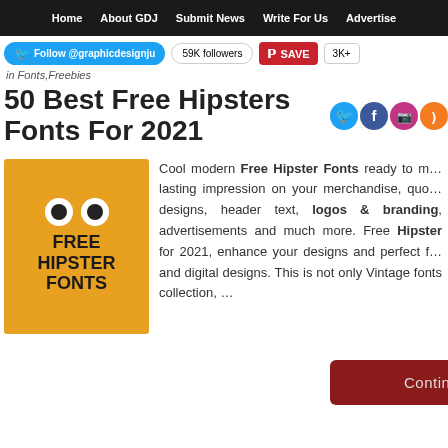Home | About GDJ | Submit News | Write For Us | Advertise
Follow @graphicdesignju  59K followers  SAVE  3K+
in Fonts, Freebies
50 Best Free Hipsters Fonts For 2021
[Figure (illustration): Orange square thumbnail with cartoon eyes and bold text reading FREE HIPSTER FONTS]
Cool modern Free Hipster Fonts ready to make a lasting impression on your merchandise, quotes, designs, header text, logos & branding, advertisements and much more. Free Hipster Fonts for 2021, enhance your designs and perfect for print and digital designs. This is not only Vintage fonts collection, …
Continue Reading